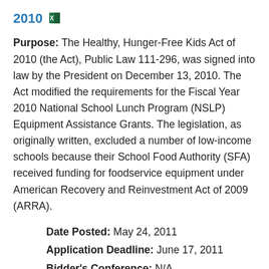2010
Purpose: The Healthy, Hunger-Free Kids Act of 2010 (the Act), Public Law 111-296, was signed into law by the President on December 13, 2010. The Act modified the requirements for the Fiscal Year 2010 National School Lunch Program (NSLP) Equipment Assistance Grants. The legislation, as originally written, excluded a number of low-income schools because their School Food Authority (SFA) received funding for foodservice equipment under American Recovery and Reinvestment Act of 2009 (ARRA).
Date Posted: May 24, 2011
Application Deadline: June 17, 2011
Bidder's Conference: N/A
Contact: jackie.schipke@ct.gov
Phone: (860) 807-2123